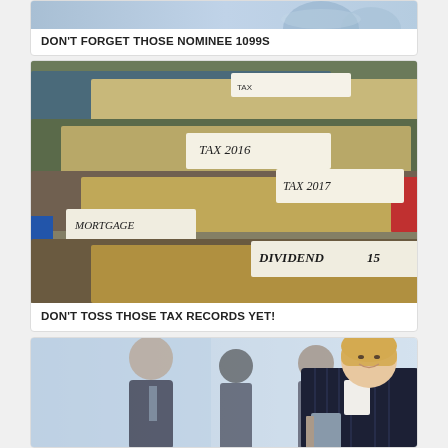[Figure (photo): Partial view of a card showing a photo (people in an office) cropped at top, with bold caption text below reading DON'T FORGET THOSE NOMINEE 1099S]
DON'T FORGET THOSE NOMINEE 1099S
[Figure (photo): Photo of stacked hanging file folders with handwritten labels: TAX 2016, TAX 2017, MORTGAGE, DIVIDEND 15, and other tax-related year folders]
DON'T TOSS THOSE TAX RECORDS YET!
[Figure (photo): Photo of business professionals in an office setting; a smiling blonde woman in a dark suit stands in the foreground holding folders, with blurred colleagues in the background]